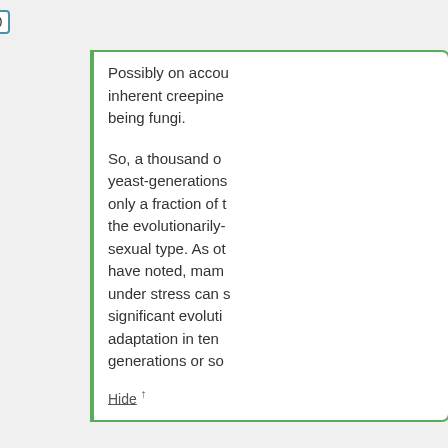[ + ]  936 comments since  1970-01-01 00:0
Possibly on accou... inherent creepine... being fungi.
So, a thousand o... yeast-generations... only a fraction of t... the evolutionarily-... sexual type. As ot... have noted, mam... under stress can s... significant evoluti... adaptation in ten ... generations or so
Hide ↑
John Schilling sa...